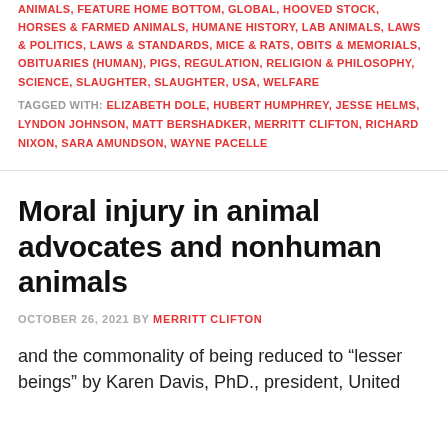ANIMALS, FEATURE HOME BOTTOM, GLOBAL, HOOVED STOCK, HORSES & FARMED ANIMALS, HUMANE HISTORY, LAB ANIMALS, LAWS & POLITICS, LAWS & STANDARDS, MICE & RATS, OBITS & MEMORIALS, OBITUARIES (HUMAN), PIGS, REGULATION, RELIGION & PHILOSOPHY, SCIENCE, SLAUGHTER, SLAUGHTER, USA, WELFARE
TAGGED WITH: ELIZABETH DOLE, HUBERT HUMPHREY, JESSE HELMS, LYNDON JOHNSON, MATT BERSHADKER, MERRITT CLIFTON, RICHARD NIXON, SARA AMUNDSON, WAYNE PACELLE
Moral injury in animal advocates and nonhuman animals
OCTOBER 26, 2021 BY MERRITT CLIFTON
and the commonality of being reduced to "lesser beings" by Karen Davis, PhD., president, United